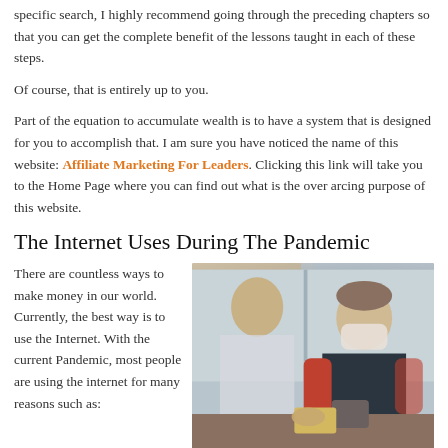specific search, I highly recommend going through the preceding chapters so that you can get the complete benefit of the lessons taught in each of these steps.
Of course, that is entirely up to you.
Part of the equation to accumulate wealth is to have a system that is designed for you to accomplish that. I am sure you have noticed the name of this website: Affiliate Marketing For Leaders. Clicking this link will take you to the Home Page where you can find out what is the over arcing purpose of this website.
The Internet Uses During The Pandemic
There are countless ways to make money in our world. Currently, the best way is to use the Internet. With the current Pandemic, most people are using the internet for many reasons such as:
[Figure (photo): Two people at a counter, both wearing face masks. One person (right) appears to be paying with a card at a payment terminal, wearing a dark hoodie with red sleeves. Another person (left, blurred) is assisting them.]